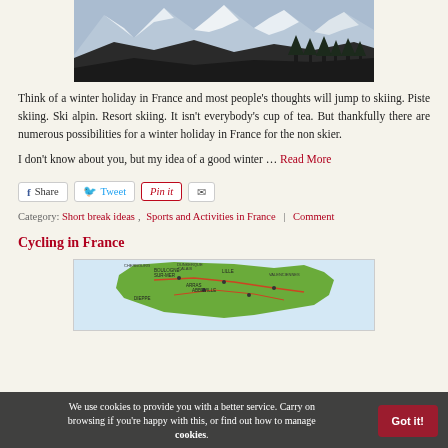[Figure (photo): Snow-capped mountains with trees in foreground, winter landscape in France]
Think of a winter holiday in France and most people's thoughts will jump to skiing. Piste skiing. Ski alpin. Resort skiing. It isn't everybody's cup of tea. But thankfully there are numerous possibilities for a winter holiday in France for the non skier.
I don't know about you, but my idea of a good winter … Read More
Share  Tweet  Pin it  [mail]
Category: Short break ideas, Sports and Activities in France | Comment
Cycling in France
[Figure (map): Map of northern France showing cycling routes and regions]
We use cookies to provide you with a better service. Carry on browsing if you're happy with this, or find out how to manage cookies.